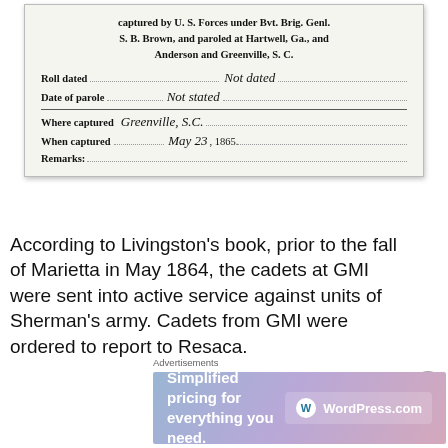[Figure (photo): Scanned historical military parole document showing handwritten fields: Roll dated (Not dated), Date of parole (Not stated), Where captured (Greenville, S.C.), When captured (May 23, 1865), and Remarks. Header text states 'captured by U. S. Forces under Bvt. Brig. Genl. S. B. Brown, and paroled at Hartwell, Ga., and Anderson and Greenville, S. C.']
According to Livingston's book, prior to the fall of Marietta in May 1864, the cadets at GMI were sent into active service against units of Sherman's army. Cadets from GMI were ordered to report to Resaca.
Advertisements
[Figure (screenshot): WordPress.com advertisement banner: 'Simplified pricing for everything you need.' with WordPress.com logo]